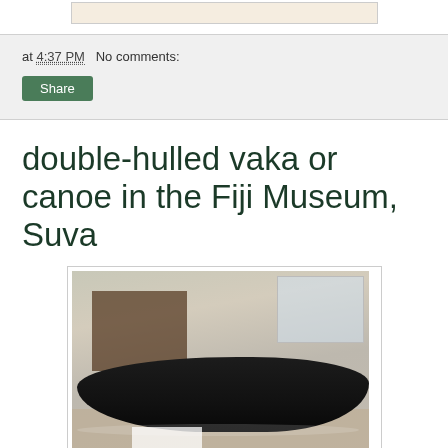[Figure (photo): Partial top of a previous post image, cropped at top of page]
at 4:37 PM   No comments:
Share
double-hulled vaka or canoe in the Fiji Museum, Suva
[Figure (photo): Photo of a double-hulled vaka (canoe) on display inside the Fiji Museum in Suva. The dark wooden canoe is displayed on a museum floor with a large scaffolding structure and windows visible in the background.]